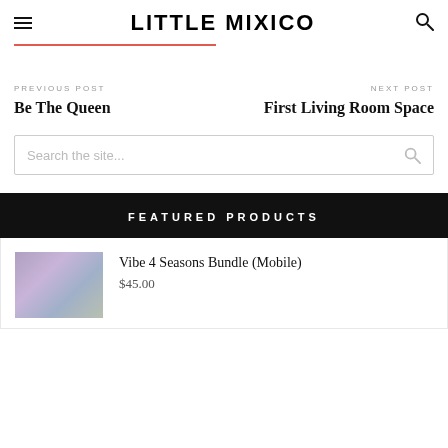LITTLE MIXICO
PREVIOUS POST
Be The Queen
NEXT POST
First Living Room Space
Search the site...
FEATURED PRODUCTS
Vibe 4 Seasons Bundle (Mobile)
$45.00